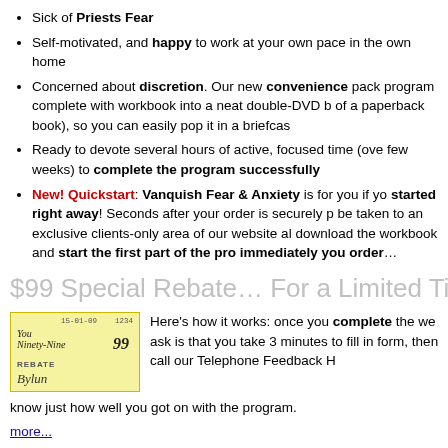Sick of Priests Fear
Self-motivated, and happy to work at your own pace in the own home
Concerned about discretion. Our new convenience pack program complete with workbook into a neat double-DVD b of a paperback book), so you can easily pop it in a briefcas
Ready to devote several hours of active, focused time (ove few weeks) to complete the program successfully
New! Quickstart: Vanquish Fear & Anxiety is for you if yo started right away! Seconds after your order is securely p be taken to an exclusive clients-only area of our website al download the workbook and start the first part of the pro immediately you order…
$99 Special Rebate… For a Limited Ti
[Figure (illustration): Image of a check/rebate cheque made out for $99, dated 15-01-09, with handwritten text 'You Ninety-Nine' and 'REBATE' label with a signature]
Here's how it works: once you complete the we ask is that you take 3 minutes to fill in form, then call our Telephone Feedback H know just how well you got on with the program.
more...